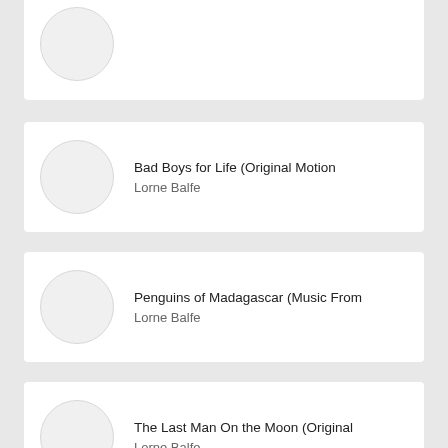Bad Boys for Life (Original Motion
Lorne Balfe
Penguins of Madagascar (Music From
Lorne Balfe
The Last Man On the Moon (Original
Lorne Balfe
Saints & Strangers (Music from the
Hans Zimmer & Lorne Balfe